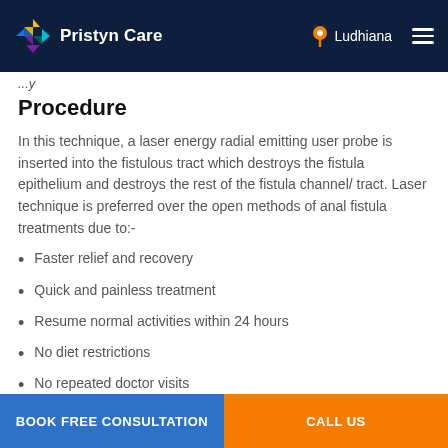Pristyn Care — Ludhiana
...y
Procedure
In this technique, a laser energy radial emitting user probe is inserted into the fistulous tract which destroys the fistula epithelium and destroys the rest of the fistula channel/ tract. Laser technique is preferred over the open methods of anal fistula treatments due to:-
Faster relief and recovery
Quick and painless treatment
Resume normal activities within 24 hours
No diet restrictions
No repeated doctor visits
BOOK FREE CONSULTATION   CALL US